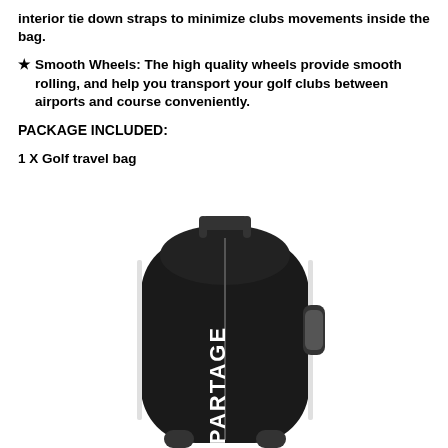interior tie down straps to minimize clubs movements inside the bag.
★ Smooth Wheels: The high quality wheels provide smooth rolling, and help you transport your golf clubs between airports and course conveniently.
PACKAGE INCLUDED:
1 X Golf travel bag
[Figure (photo): Black PARTAGE golf travel bag with wheels, showing the bag upright with a top carry handle and white brand logo text on the side.]